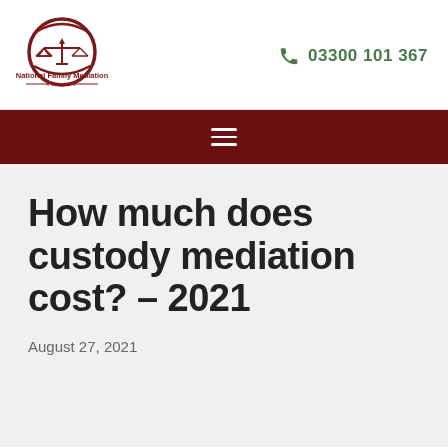[Figure (logo): National Family Mediation Service logo with scales of justice in a circular emblem]
03300 101 367
≡
How much does custody mediation cost? – 2021
August 27, 2021